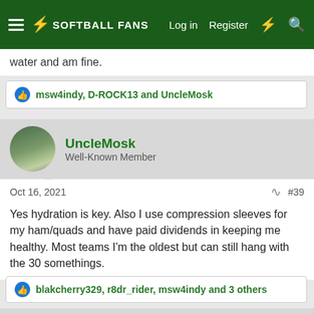SOFTBALL FANS — Log in | Register
water and am fine.
msw4indy, D-ROCK13 and UncleMosk
UncleMosk
Well-Known Member
Oct 16, 2021  #39
Yes hydration is key. Also I use compression sleeves for my ham/quads and have paid dividends in keeping me healthy. Most teams I'm the oldest but can still hang with the 30 somethings.
blakcherry329, r8dr_rider, msw4indy and 3 others
dunkky
Well-Known Member